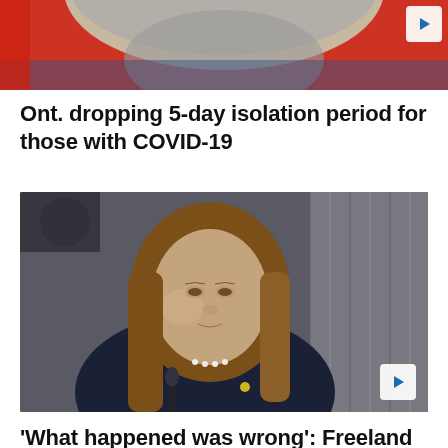[Figure (photo): Cropped top portion of a person with grey/white beard and hair, wearing a blue jacket, against a red background. Video thumbnail with play button.]
Ont. dropping 5-day isolation period for those with COVID-19
[Figure (photo): A woman with long brown hair, wearing a dark navy blazer and pearl necklace, speaking at a microphone. Industrial background with metal tubes. Video thumbnail with play button.]
'What happened was wrong': Freeland on harassment in Alta.